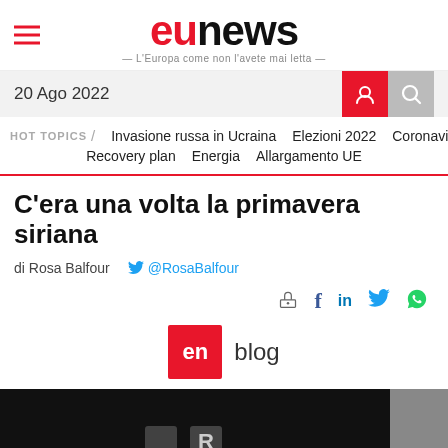eunews — L'Europa come non l'avete mai letta
20 Ago 2022
HOT TOPICS / Invasione russa in Ucraina   Elezioni 2022   Coronavirus   Recovery plan   Energia   Allargamento UE
C'era una volta la primavera siriana
di Rosa Balfour   @RosaBalfour
[Figure (logo): en blog badge with red background and 'en' in white text, followed by 'blog' text]
[Figure (photo): Dark black image with partially visible letters or dice, black and white photo on right edge]